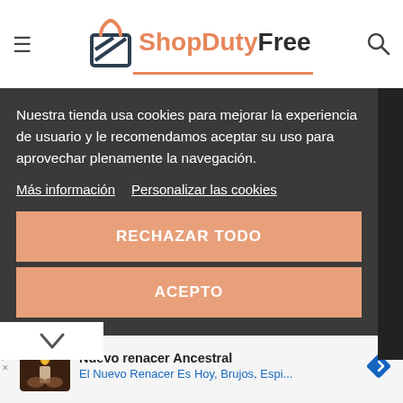[Figure (logo): ShopDutyFree logo with shopping bag icon, orange and dark text, orange underline]
Nuestra tienda usa cookies para mejorar la experiencia de usuario y le recomendamos aceptar su uso para aprovechar plenamente la navegación.
Más información   Personalizar las cookies
RECHAZAR TODO
ACEPTO
Nuevo renacer Ancestral
El Nuevo Renacer Es Hoy, Brujos, Espi...